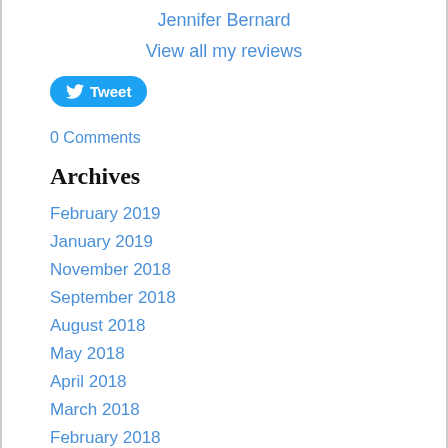Jennifer Bernard
View all my reviews
[Figure (other): Twitter Tweet button with bird logo]
0 Comments
Archives
February 2019
January 2019
November 2018
September 2018
August 2018
May 2018
April 2018
March 2018
February 2018
January 2018
November 2017
October 2017